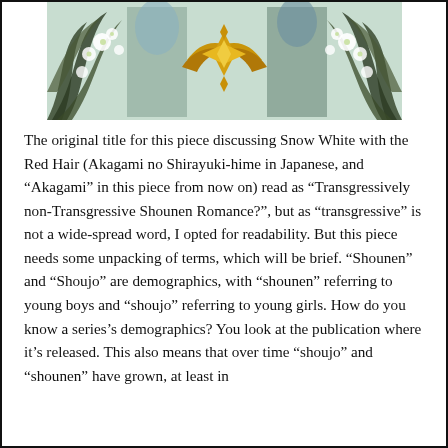[Figure (illustration): Anime illustration showing decorative floral elements with white flowers, dark feathered wings/leaves design, and a central golden winged emblem/crest on a light green background]
The original title for this piece discussing Snow White with the Red Hair (Akagami no Shirayuki-hime in Japanese, and “Akagami” in this piece from now on) read as “Transgressively non-Transgressive Shounen Romance?”, but as “transgressive” is not a wide-spread word, I opted for readability. But this piece needs some unpacking of terms, which will be brief. “Shounen” and “Shoujo” are demographics, with “shounen” referring to young boys and “shoujo” referring to young girls. How do you know a series’s demographics? You look at the publication where it’s released. This also means that over time “shoujo” and “shounen” have grown, at least in